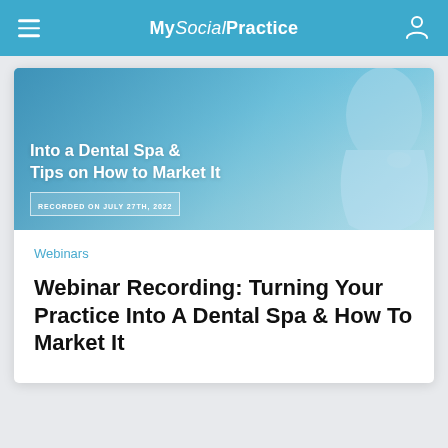My Social Practice
[Figure (photo): Promotional webinar banner image showing a woman touching her face with text overlay: 'Into a Dental Spa & Tips on How to Market It' and 'RECORDED ON JULY 27TH, 2022']
Webinars
Webinar Recording: Turning Your Practice Into A Dental Spa & How To Market It